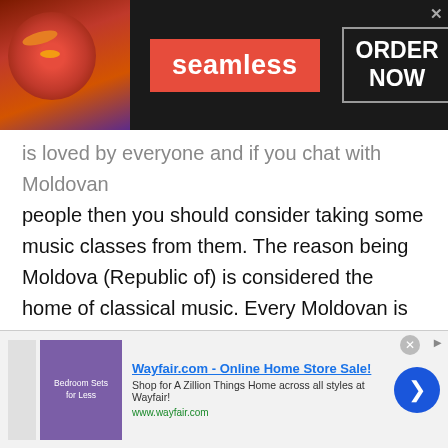[Figure (screenshot): Seamless food delivery advertisement banner with pizza image, red Seamless logo button, and ORDER NOW text in bordered box on dark background]
is loved by everyone and if you chat with Moldovan people then you should consider taking some music classes from them. The reason being Moldova (Republic of) is considered the home of classical music. Every Moldovan is literally filled with the talent of music inside them. You can use the talkwithstranger's platform to take music classes online.
Since the world was standstill during the Covid-19 pandemic, people could not go to parties. The
[Figure (screenshot): Wayfair.com online home store advertisement banner with purple bedroom sale image, title, description, URL, close button, and blue arrow navigation button]